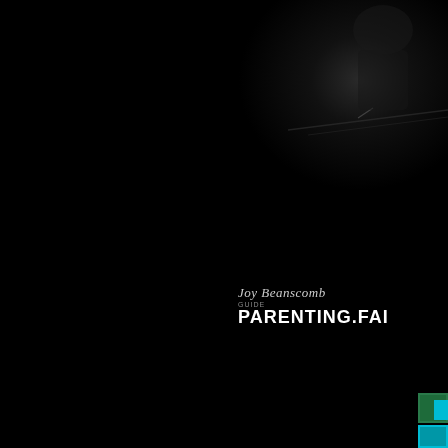[Figure (photo): Dark photo in upper right corner showing a person at a desk or table in dim lighting, nearly black background with faint silhouette and desk/table edge visible]
Joy Beanscomb
GUIDE
PARENTING.FAI
[Figure (photo): Small colored strip in the lower right corner, teal/cyan colored bar visible at bottom right edge]